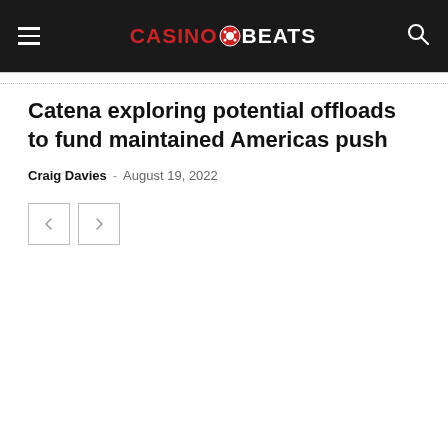CASINOBEATS
Catena exploring potential offloads to fund maintained Americas push
Craig Davies - August 19, 2022